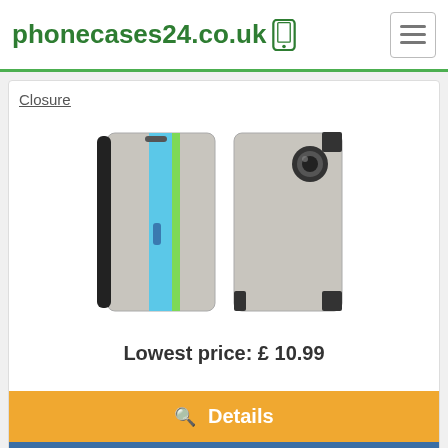phonecases24.co.uk
Closure
[Figure (photo): Product photo showing two views of a grey phone case with blue and green stripe accents — front open view and back closed view]
Lowest price: £ 10.99
Details
Check on amazon
for Meizu M3 Note Case, Fashion Multicolor Magnetic Closure